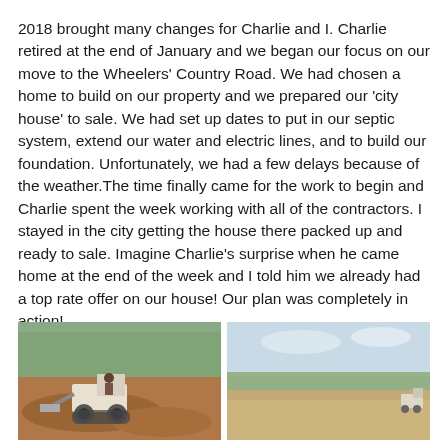2018 brought many changes for Charlie and I. Charlie retired at the end of January and we began our focus on our move to the Wheelers' Country Road. We had chosen a home to build on our property and we prepared our 'city house' to sale. We had set up dates to put in our septic system, extend our water and electric lines, and to build our foundation. Unfortunately, we had a few delays because of the weather.The time finally came for the work to begin and Charlie spent the week working with all of the contractors. I stayed in the city getting the house there packed up and ready to sale. Imagine Charlie's surprise when he came home at the end of the week and I told him we already had a top rate offer on our house! Our plan was completely in action!
[Figure (photo): Photograph of a skid steer / bobcat tractor working on dirt ground clearing land, with trees in background]
[Figure (photo): Photograph of an open field with trees along the horizon and a small piece of equipment visible at far right]